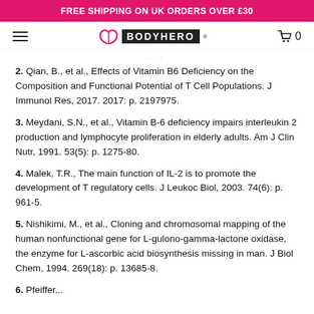FREE SHIPPING ON UK ORDERS OVER £30
2. Qian, B., et al., Effects of Vitamin B6 Deficiency on the Composition and Functional Potential of T Cell Populations. J Immunol Res, 2017. 2017: p. 2197975.
3. Meydani, S.N., et al., Vitamin B-6 deficiency impairs interleukin 2 production and lymphocyte proliferation in elderly adults. Am J Clin Nutr, 1991. 53(5): p. 1275-80.
4. Malek, T.R., The main function of IL-2 is to promote the development of T regulatory cells. J Leukoc Biol, 2003. 74(6): p. 961-5.
5. Nishikimi, M., et al., Cloning and chromosomal mapping of the human nonfunctional gene for L-gulono-gamma-lactone oxidase, the enzyme for L-ascorbic acid biosynthesis missing in man. J Biol Chem, 1994. 269(18): p. 13685-8.